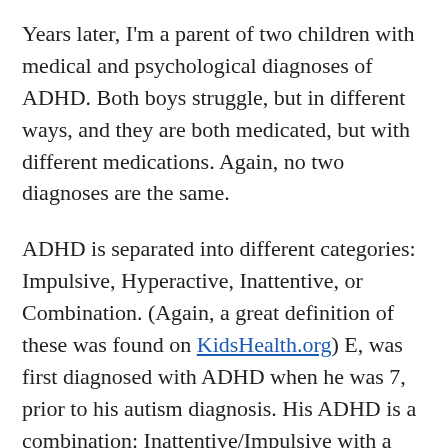Years later, I'm a parent of two children with medical and psychological diagnoses of ADHD. Both boys struggle, but in different ways, and they are both medicated, but with different medications. Again, no two diagnoses are the same.
ADHD is separated into different categories: Impulsive, Hyperactive, Inattentive, or Combination. (Again, a great definition of these was found on KidsHealth.org) E, was first diagnosed with ADHD when he was 7, prior to his autism diagnosis. His ADHD is a combination: Inattentive/Impulsive with a little Hyperactivity. He struggles to follow multi-step directions, procrastinates, is absent-minded, and often loses track of things (Inattentive). Without his medication he is almost wild. He acts without thinking, is over-emotional